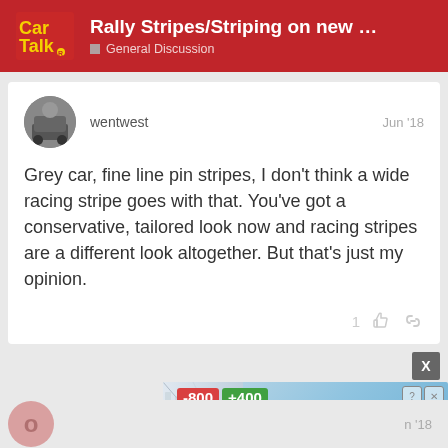Rally Stripes/Striping on new Camaro/Mus... — General Discussion
wentwest — Jun '18
Grey car, fine line pin stripes, I don't think a wide racing stripe goes with that. You've got a conservative, tailored look now and racing stripes are a different look altogether. But that's just my opinion.
[Figure (screenshot): Advertisement banner showing a mobile game with -800 YEARS and +400 stats, blue hallway background, animated characters, and 'Swipe to Play' text with hand cursor icon.]